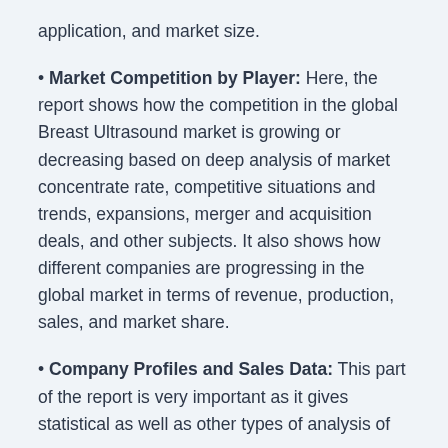application, and market size.
Market Competition by Player: Here, the report shows how the competition in the global Breast Ultrasound market is growing or decreasing based on deep analysis of market concentrate rate, competitive situations and trends, expansions, merger and acquisition deals, and other subjects. It also shows how different companies are progressing in the global market in terms of revenue, production, sales, and market share.
Company Profiles and Sales Data: This part of the report is very important as it gives statistical as well as other types of analysis of